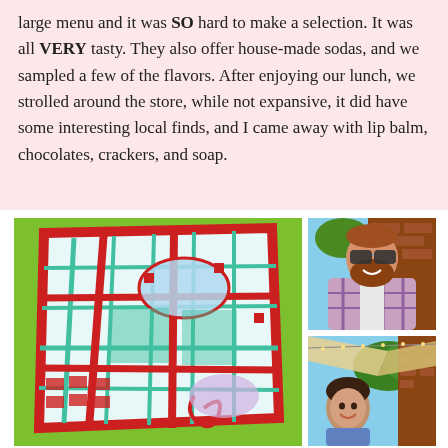large menu and it was SO hard to make a selection. It was all VERY tasty. They also offer house-made sodas, and we sampled a few of the flavors. After enjoying our lunch, we strolled around the store, while not expansive, it did have some interesting local finds, and I came away with lip balm, chocolates, crackers, and soap.
[Figure (photo): Colorful painting with abstract bird/map design featuring red, teal, and blue colors on a green background]
[Figure (photo): Man with red beard and sunglasses smiling, standing in front of a brick wall outdoors]
[Figure (photo): Woman smiling outdoors under string lights and a canopy with brick wall in background]